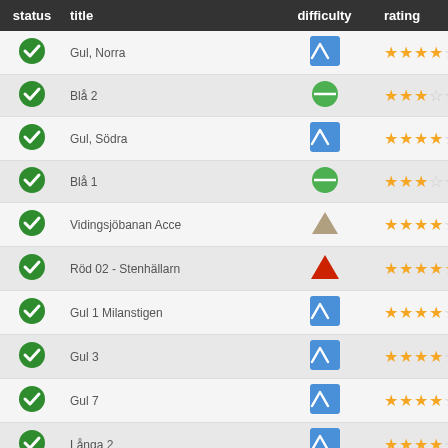| status | title | difficulty | rating |
| --- | --- | --- | --- |
| ✓ | Gul, Norra | blue-square-wave | 4.5/5 |
| ✓ | Blå 2 | green-circle | 3/5 |
| ✓ | Gul, Södra | blue-square-wave | 4.5/5 |
| ✓ | Blå 1 | green-circle | 3/5 |
| ✓ | Vidingsjöbanan Acce | beige-triangle | 4.5/5 |
| ✓ | Röd 02 - Stenhällarn | red-triangle | 4.5/5 |
| ✓ | Gul 1 Milanstigen | blue-square-wave | 4.5/5 |
| ✓ | Gul 3 | blue-square-wave | 4/5 |
| ✓ | Gul 7 | blue-square-wave | 4.5/5 |
| ✓ | Långa 2 | blue-square-wave | 4.5/5 |